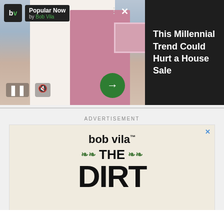[Figure (screenshot): Video ad widget showing a house with pink door on left, Bob Vila 'Popular Now' logo badge top left, close X button, three dots menu, arrow button. Right side dark panel with headline text.]
This Millennial Trend Could Hurt a House Sale
ADVERTISEMENT
[Figure (screenshot): Bob Vila advertisement box with beige background. Shows 'bob vila' logo with trademark symbol, then 'THE DIRT' newsletter logo with green leaf decorations, large bold 'DIRT' text. Close X button top right.]
Advice for green & brown thumbs alike
SUBSCRIBE